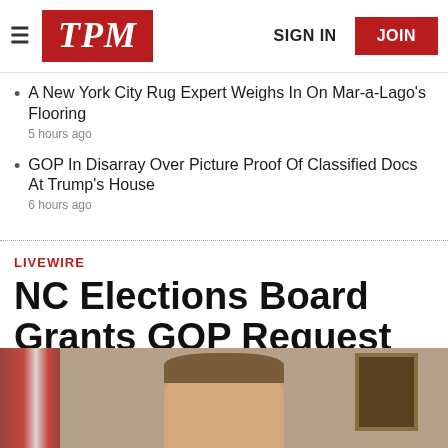TPM — SIGN IN | JOIN
A New York City Rug Expert Weighs In On Mar-a-Lago's Flooring — 5 hours ago
GOP In Disarray Over Picture Proof Of Classified Docs At Trump's House — 6 hours ago
LIVEWIRE
NC Elections Board Grants GOP Request For Recount In Durham County
[Figure (photo): Photo of a man (Pat McCrory) in a formal indoor setting with a flag and framed painting visible in background]